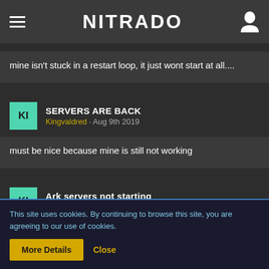NITRADO
mine isn't stuck in a restart loop, it just wont start at all....
SERVERS ARE BACK
Kingvaldred · Aug 9th 2019
must be nice because mine is still not working
Ark servers not starting
Kingvaldred · Aug 9th 2019
3 days? that's ridiculous. I have dealt with other Hosting services before
This site uses cookies. By continuing to browse this site, you are agreeing to our use of cookies.